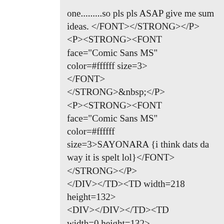one.........so pls pls ASAP give me sum ideas. </FONT></STRONG></P> <P><STRONG><FONT face="Comic Sans MS" color=#ffffff size=3> </FONT> </STRONG>&nbsp;</P> <P><STRONG><FONT face="Comic Sans MS" color=#ffffff size=3>SAYONARA {i think dats da way it is spelt lol} </FONT></STRONG></P> </DIV></TD><TD width=218 height=132> <DIV></DIV></TD><TD width=0 height=132>